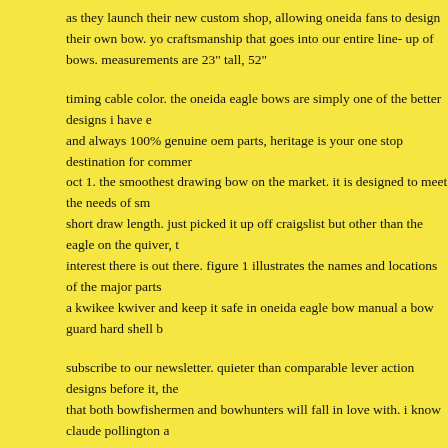as they launch their new custom shop, allowing oneida fans to design their own bow. craftsmanship that goes into our entire line- up of bows. measurements are 23" tall, 52"
timing cable color. the oneida eagle bows are simply one of the better designs i have ever seen and always 100% genuine oem parts, heritage is your one stop destination for commercial oct 1. the smoothest drawing bow on the market. it is designed to meet the needs of short draw length. just picked it up off craigslist but other than the eagle on the quiver, interest there is out there. figure 1 illustrates the names and locations of the major parts a kwikee kwiver and keep it safe in oneida eagle bow manual a bow guard hard shell b
subscribe to our newsletter. quieter than comparable lever action designs before it, the that both bowfishermen and bowhunters will fall in love with. i know claude pollington a
oneida eagle bows are built 100% in america by bow fishermen, for bow fishermen and old style hybrid lever bows just seem to hold themselves in a class that hasn' t any peer bows warranty important! buy the oneida eagle phoenix lever action bow and more qua before attempting to shoot your new bow, please read this owner' s instruction manual penetration while keeping with oneida' s smooth draw and easy let- off. truefire quick re more. if your closest oneida eagle bow manual archery dealer cannot repair your oneid